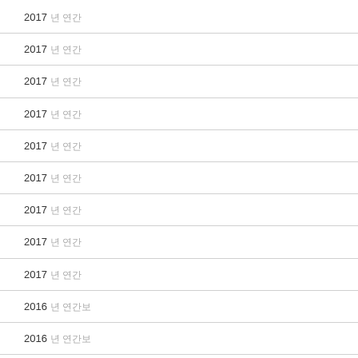2017 년 연간
2017 년 연간
2017 년 연간
2017 년 연간
2017 년 연간
2017 년 연간
2017 년 연간
2017 년 연간
2017 년 연간
2016 년 연간보
2016 년 연간보